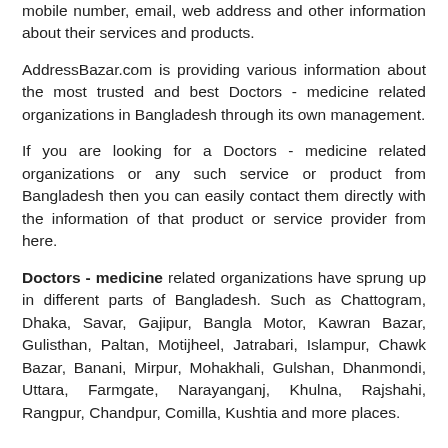mobile number, email, web address and other information about their services and products.
AddressBazar.com is providing various information about the most trusted and best Doctors - medicine related organizations in Bangladesh through its own management.
If you are looking for a Doctors - medicine related organizations or any such service or product from Bangladesh then you can easily contact them directly with the information of that product or service provider from here.
Doctors - medicine related organizations have sprung up in different parts of Bangladesh. Such as Chattogram, Dhaka, Savar, Gajipur, Bangla Motor, Kawran Bazar, Gulisthan, Paltan, Motijheel, Jatrabari, Islampur, Chawk Bazar, Banani, Mirpur, Mohakhali, Gulshan, Dhanmondi, Uttara, Farmgate, Narayanganj, Khulna, Rajshahi, Rangpur, Chandpur, Comilla, Kushtia and more places.